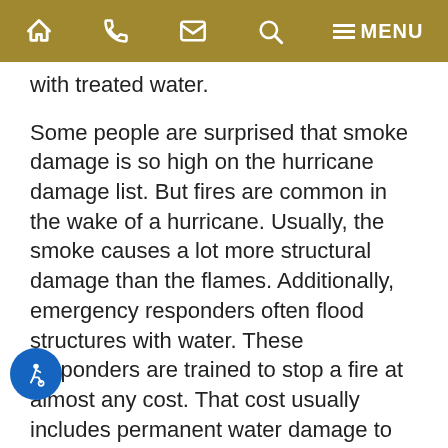MENU (navigation bar with home, phone, email, search, menu icons)
with treated water.
Some people are surprised that smoke damage is so high on the hurricane damage list. But fires are common in the wake of a hurricane. Usually, the smoke causes a lot more structural damage than the flames. Additionally, emergency responders often flood structures with water. These responders are trained to stop a fire at almost any cost. That cost usually includes permanent water damage to existing structures.
Your Rights in an Insurance Claim Dispute
When policyholders file claims, the insurance company usually looks for the cheapest way out. But the laws in Florida do not permit such a response. Our Carrollwood hurricane insurance claim lawyers